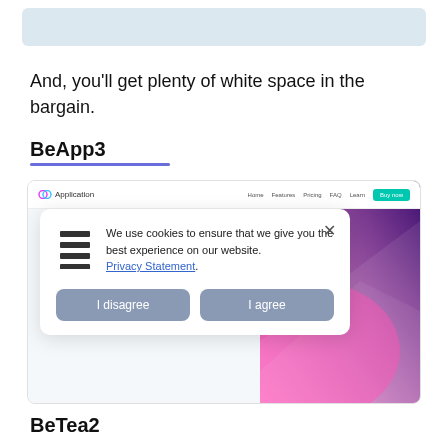[Figure (screenshot): Light blue/grey banner at top of page, partial UI element]
And, you'll get plenty of white space in the bargain.
BeApp3
[Figure (screenshot): Screenshot of a web application with a navigation bar showing 'Application' logo and links (Home, Features, Pricing, FAQ, Learn, Buy now button in teal). A cookie consent modal overlays: hamburger icon, text 'We use cookies to ensure that we give you the best experience on our website. Privacy Statement.' with 'I disagree' and 'I agree' buttons. Background has pink-to-purple gradient on the right side.]
BeTea2